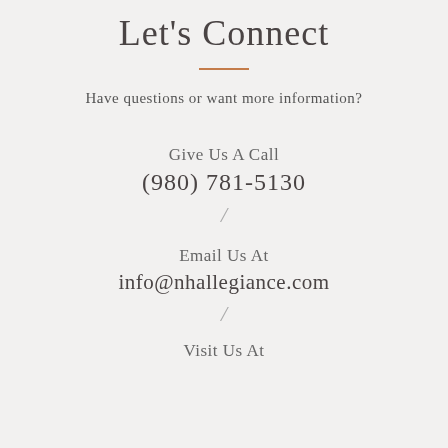Let's Connect
Have questions or want more information?
Give Us A Call
(980) 781-5130
/
Email Us At
info@nhallegiance.com
/
Visit Us At